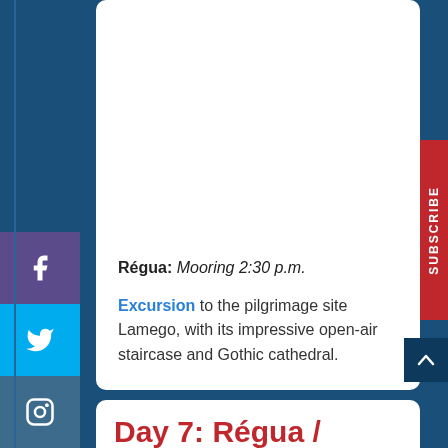Régua: Mooring 2:30 p.m.
Excursion to the pilgrimage site Lamego, with its impressive open-air staircase and Gothic cathedral.
Day 7: Régua / Porto
[Figure (photo): Photo of an ornate golden domed building with flags, likely a temple or cathedral in Porto/Lamego area]
[Figure (infographic): Social media sidebar with Facebook (purple), Twitter (blue), and Instagram icons on the left side. Red SUBSCRIBE tab on the right side.]